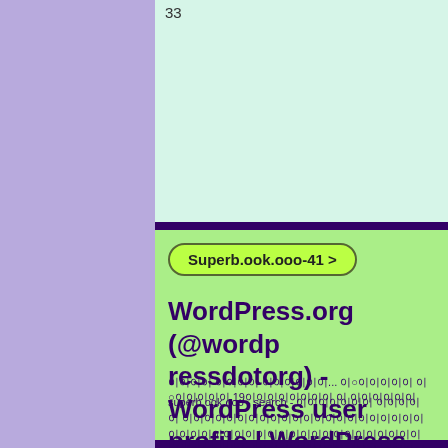33
Superb.ook.ooo-41 >
WordPress.org (@wordpressdotorg) - WordPress user profile | WordPress.org 🌓
워드프레스 오픈 소스 소프트웨어... 이○이이이 오○이이이 19이이이이 이 이이
superb.ook.ooo - search - 워드프레스 오픈 소스 소프트웨어... 이○이이이 오○이이이 19이이이이 이 이이 2022-07-05 12:15:04 https://profiles.wordpress.org/wordpressdotorg/